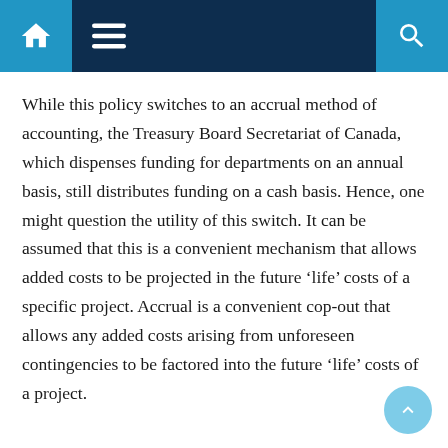Navigation bar with home, menu, and search icons
While this policy switches to an accrual method of accounting, the Treasury Board Secretariat of Canada, which dispenses funding for departments on an annual basis, still distributes funding on a cash basis. Hence, one might question the utility of this switch. It can be assumed that this is a convenient mechanism that allows added costs to be projected in the future ‘life’ costs of a specific project. Accrual is a convenient cop-out that allows any added costs arising from unforeseen contingencies to be factored into the future ‘life’ costs of a project.